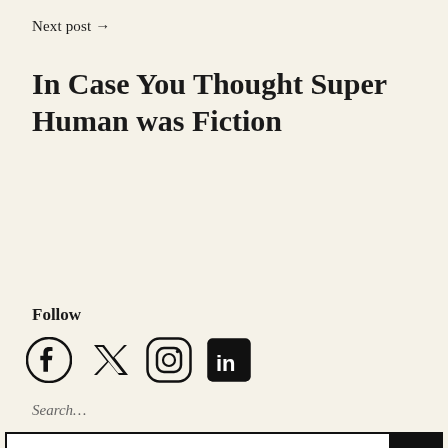Next post →
In Case You Thought Super Human was Fiction
Follow
[Figure (other): Social media icons: Facebook, Twitter, Instagram, LinkedIn]
Search…